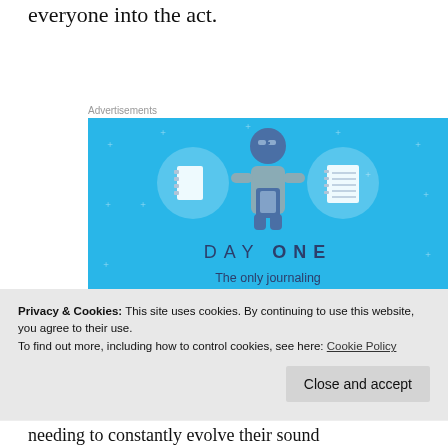everyone into the act.
Advertisements
[Figure (illustration): Day One journaling app advertisement on a blue background. Shows a cartoon person holding a phone with circular icons depicting notebooks on either side. Text reads 'DAY ONE — The only journaling app you'll ever need.' with a button below.]
Privacy & Cookies: This site uses cookies. By continuing to use this website, you agree to their use.
To find out more, including how to control cookies, see here: Cookie Policy
needing to constantly evolve their sound